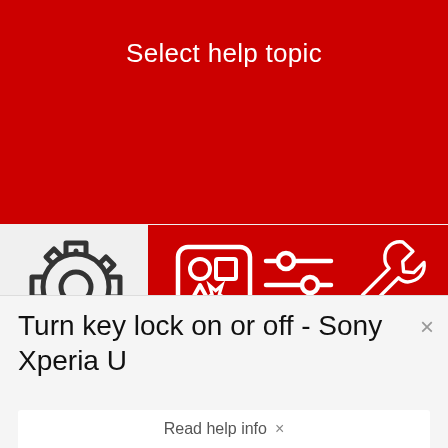Select help topic
[Figure (screenshot): Help menu UI with gear icon (Basic use), Explore icon, Change settings icon, and Specifications icon on a red background]
Turn key lock on or off - Sony Xperia U
Read help info ×